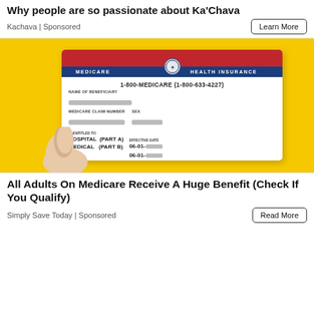Why people are so passionate about Ka'Chava
Kachava | Sponsored
[Figure (photo): A hand holding a Medicare Health Insurance card against a yellow background. The card shows: MEDICARE HEALTH INSURANCE, 1-800-MEDICARE (1-800-633-4227), NAME OF BENEFICIARY (redacted), MEDICARE CLAIM NUMBER (redacted), SEX (redacted), IS ENTITLED TO: HOSPITAL (PART A) 06-01-[redacted], MEDICAL (PART B) 06-01-[redacted], EFFECTIVE DATE fields.]
All Adults On Medicare Receive A Huge Benefit (Check If You Qualify)
Simply Save Today | Sponsored